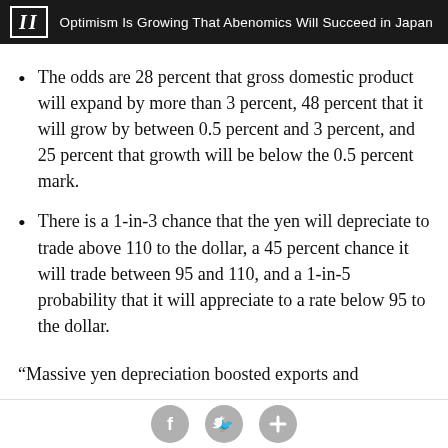II  Optimism Is Growing That Abenomics Will Succeed in Japan
The odds are 28 percent that gross domestic product will expand by more than 3 percent, 48 percent that it will grow by between 0.5 percent and 3 percent, and 25 percent that growth will be below the 0.5 percent mark.
There is a 1-in-3 chance that the yen will depreciate to trade above 110 to the dollar, a 45 percent chance it will trade between 95 and 110, and a 1-in-5 probability that it will appreciate to a rate below 95 to the dollar.
“Massive yen depreciation boosted exports and
[Figure (infographic): Social sharing icons: Facebook, Twitter, and Plus buttons in grey circles at the bottom of the page]